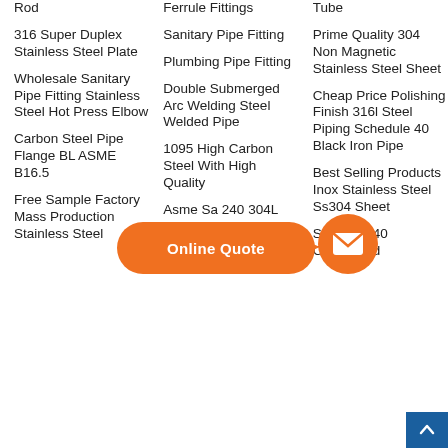Rod
316 Super Duplex Stainless Steel Plate
Wholesale Sanitary Pipe Fitting Stainless Steel Hot Press Elbow
Carbon Steel Pipe Flange BL ASME B16.5
Free Sample Factory Mass Production Stainless Steel
Ferrule Fittings
Sanitary Pipe Fitting
Plumbing Pipe Fitting
Double Submerged Arc Welding Steel Welded Pipe
1095 High Carbon Steel With High Quality
Asme Sa 240 304L Stainless Steel Sheet
Zinc Coated
Tube
Prime Quality 304 Non Magnetic Stainless Steel Sheet
Cheap Price Polishing Finish 316l Steel Piping Schedule 40 Black Iron Pipe
Best Selling Products Inox Stainless Steel Ss304 Sheet
Schedule 40 Corrugated
[Figure (other): Orange Online Quote button with arrow pointing to orange email circle icon, and a blue scroll-to-top button in the bottom right corner]